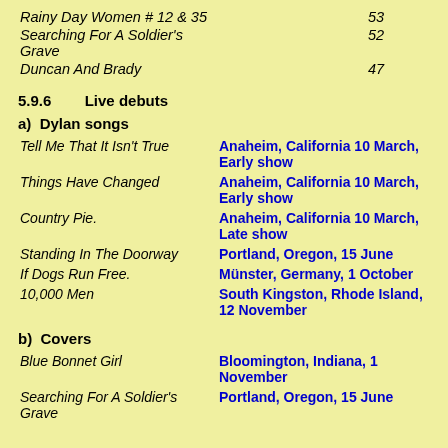| Song | Number |
| --- | --- |
| Rainy Day Women # 12 & 35 | 53 |
| Searching For A Soldier's Grave | 52 |
| Duncan And Brady | 47 |
5.9.6    Live debuts
a)  Dylan songs
| Song | Venue |
| --- | --- |
| Tell Me That It Isn't True | Anaheim, California 10 March, Early show |
| Things Have Changed | Anaheim, California 10 March, Early show |
| Country Pie. | Anaheim, California 10 March, Late show |
| Standing In The Doorway | Portland, Oregon, 15 June |
| If Dogs Run Free. | Münster, Germany, 1 October |
| 10,000 Men | South Kingston, Rhode Island, 12 November |
b)  Covers
| Song | Venue |
| --- | --- |
| Blue Bonnet Girl | Bloomington, Indiana, 1 November |
| Searching For A Soldier's Grave | Portland, Oregon, 15 June |